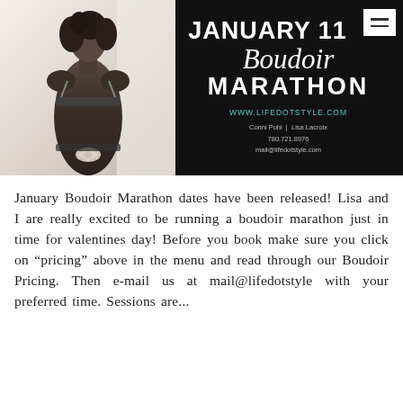[Figure (photo): Two-panel banner: left side shows a black-and-white photo of a woman's back wearing lingerie; right side is a black background with bold text reading 'JANUARY 11 Boudoir MARATHON', website WWW.LIFEDOTSTYLE.COM, contact info 'Conni Pohl | Lisa Lacroix 780.721.8976 mail@lifedotstyle.com', and a hamburger menu icon in white box at top right.]
January Boudoir Marathon dates have been released! Lisa and I are really excited to be running a boudoir marathon just in time for valentines day! Before you book make sure you click on “pricing” above in the menu and read through our Boudoir Pricing. Then e-mail us at mail@lifedotstyle with your preferred time. Sessions are...